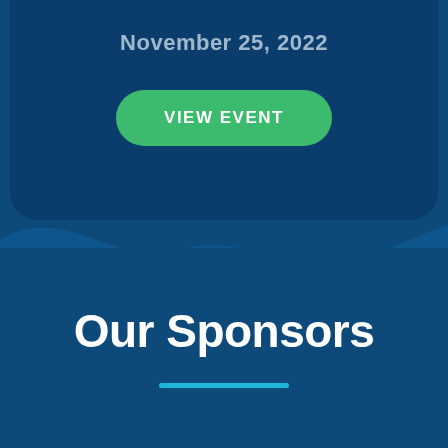November 25, 2022
[Figure (other): Green rounded button with text VIEW EVENT]
[Figure (illustration): Abstract wave pattern background in shades of blue]
Our Sponsors